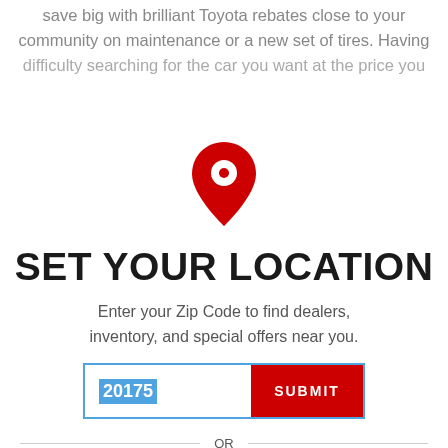save big with brilliant Toyota rebates close to your community on maintenance or a new set of tires. Having difficulty searching for the car you want at the price you
[Figure (illustration): Red map pin / location marker icon]
SET YOUR LOCATION
Enter your Zip Code to find dealers, inventory, and special offers near you.
20175 [zip code input field] SUBMIT [button]
OR
FIND A DEALER